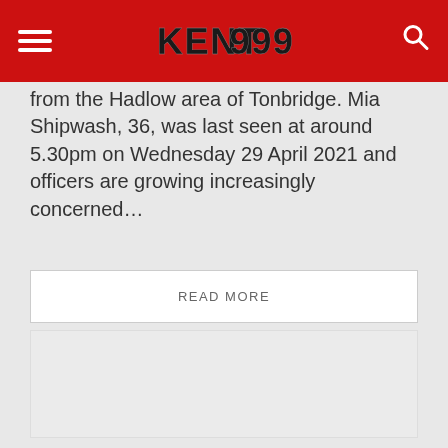KENT 999
from the Hadlow area of Tonbridge. Mia Shipwash, 36, was last seen at around 5.30pm on Wednesday 29 April 2021 and officers are growing increasingly concerned...
READ MORE
[Figure (other): Advertisement placeholder block (light grey rectangle)]